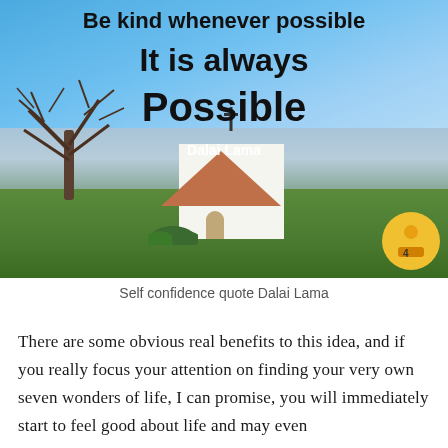[Figure (photo): Outdoor photo of a small white chapel with orange-red roof and cross on top, set on a hilltop with a bare tree to the left and a panoramic view of a valley/city in the background under a blue sky. Quote text overlaid: 'Be kind whenever possible. It is always Possible' attributed to Dalai Lama. A circular yellow logo badge in the bottom right corner.]
Self confidence quote Dalai Lama
There are some obvious real benefits to this idea, and if you really focus your attention on finding your very own seven wonders of life, I can promise, you will immediately start to feel good about life and may even